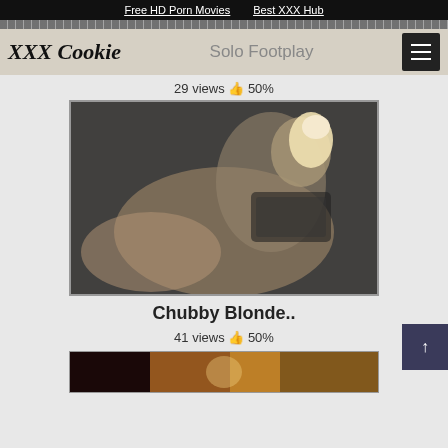Free HD Porn Movies   Best XXX Hub
XXX Cookie   Solo Footplay
29 views 👍 50%
[Figure (photo): Video thumbnail showing a chubby blonde woman in black lingerie lying on a bed]
Chubby Blonde..
41 views 👍 50%
[Figure (photo): Partial video thumbnail at bottom of page]